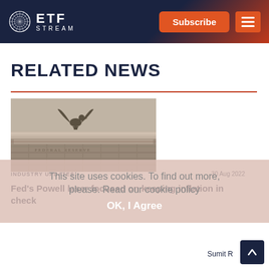ETF STREAM — Subscribe
RELATED NEWS
[Figure (photo): Federal Reserve building exterior with eagle sculpture on cornice, classical stone architecture]
This site uses cookies. To find out more, please. Read our cookie policy
OK, I Agree
INDUSTRY UPDATES
30 Aug 2022
Fed's Powell laser focused on keeping inflation in check
Sumit R